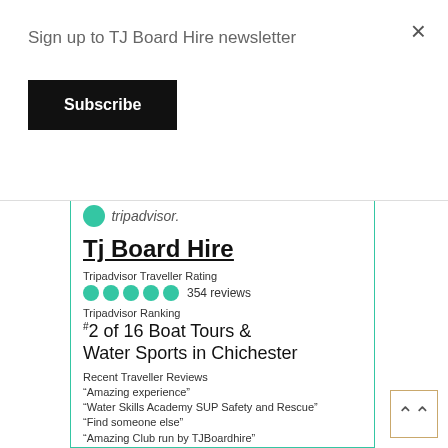Sign up to TJ Board Hire newsletter
Subscribe
Tj Board Hire
Tripadvisor Traveller Rating
354 reviews
Tripadvisor Ranking
#2 of 16 Boat Tours & Water Sports in Chichester
Recent Traveller Reviews
“Amazing experience”
“Water Skills Academy SUP Safety and Rescue”
“Find someone else”
“Amazing Club run by TJBoardhire”
“Fantastic experience”
Read reviews | Write a review